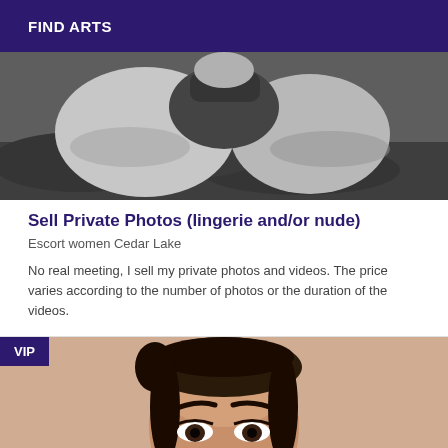FIND ARTS
[Figure (photo): Black and white cropped photo of a person lying down, upper body visible]
Sell Private Photos (lingerie and/or nude)
Escort women Cedar Lake
No real meeting, I sell my private photos and videos. The price varies according to the number of photos or the duration of the videos.
[Figure (photo): Close-up photo of a woman's face with hair pulled back, looking at camera, with VIP badge overlay]